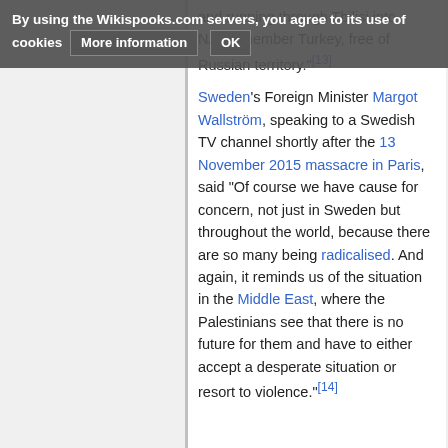By using the Wikispooks.com servers, you agree to its use of cookies  More information  OK
and running through Tbilisi into NATO member Turkey, free of Russian territory.[13]
Sweden's Foreign Minister Margot Wallström, speaking to a Swedish TV channel shortly after the 13 November 2015 massacre in Paris, said “Of course we have cause for concern, not just in Sweden but throughout the world, because there are so many being radicalised. And again, it reminds us of the situation in the Middle East, where the Palestinians see that there is no future for them and have to either accept a desperate situation or resort to violence.”[14]